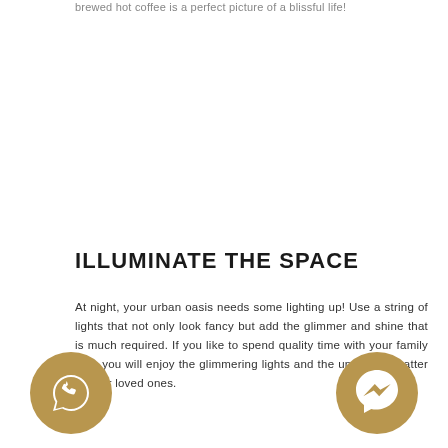brewed hot coffee is a perfect picture of a blissful life!
ILLUMINATE THE SPACE
At night, your urban oasis needs some lighting up! Use a string of lights that not only look fancy but add the glimmer and shine that is much required. If you like to spend quality time with your family then you will enjoy the glimmering lights and the unending chatter of your loved ones.
[Figure (illustration): WhatsApp chat button icon - gold circle with white speech bubble containing phone handset]
[Figure (illustration): Facebook Messenger button icon - gold circle with white lightning bolt messenger logo]